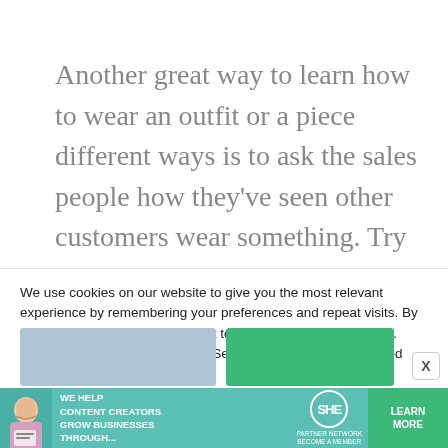Another great way to learn how to wear an outfit or a piece different ways is to ask the sales people how they've seen other customers wear something. Try it that way while you're with the sales associate and have her snap a photo with your phone so you have a visual
We use cookies on our website to give you the most relevant experience by remembering your preferences and repeat visits. By clicking “Accept All”, you consent to the use of ALL the cookies. However, you may visit "Cookie Settings" to provide a controlled consent.
[Figure (screenshot): Advertisement banner for SHE Media Partner Network with teal background, woman with laptop, text 'We help content creators grow businesses through...', SHE logo, and 'Learn More' green button.]